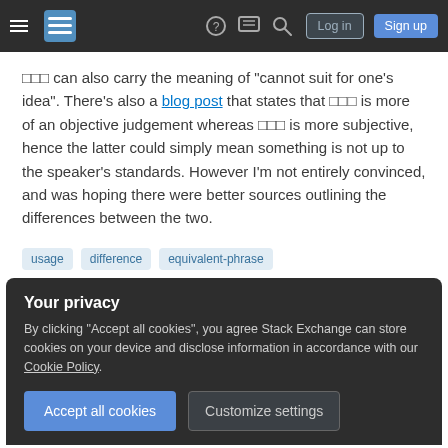Stack Exchange navigation bar with hamburger menu, logo, help, chat, search icons, Log in and Sign up buttons
□□□ can also carry the meaning of "cannot suit for one's idea". There's also a blog post that states that □□□ is more of an objective judgement whereas □□□ is more subjective, hence the latter could simply mean something is not up to the speaker's standards. However I'm not entirely convinced, and was hoping there were better sources outlining the differences between the two.
usage
difference
equivalent-phrase
Your privacy
By clicking "Accept all cookies", you agree Stack Exchange can store cookies on your device and disclose information in accordance with our Cookie Policy.
Accept all cookies   Customize settings
1  As a native speaker, when I hear A□□□B, it means 'A